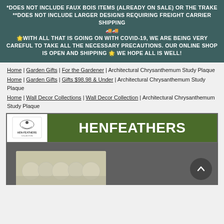*DOES NOT INCLUDE FAUX BOIS ITEMS (ALREADY ON SALE) OR THE TRAKE **DOES NOT INCLUDE LARGER DESIGNS REQUIRING FREIGHT CARRIER SHIPPING 🚚🚚 🌟WITH ALL THAT IS GOING ON WITH COVID-19, WE ARE BEING VERY CAREFUL TO TAKE ALL THE NECESSARY PRECAUTIONS. OUR ONLINE SHOP IS OPEN AND SHIPPING 🌟 WE HOPE ALL IS WELL!
Home | Garden Gifts | For the Gardener | Architectural Chrysanthemum Study Plaque
Home | Garden Gifts | Gifts $98.98 & Under | Architectural Chrysanthemum Study Plaque
Home | Wall Decor Collections | Wall Decor Collection | Architectural Chrysanthemum Study Plaque
[Figure (logo): Henfeathers logo banner with white hen-feathers logo on left and green background with HENFEATHERS text on right]
[Figure (photo): Product image section showing Architectural Chrysanthemum Study Plaque on dark background with scroll-to-top button]